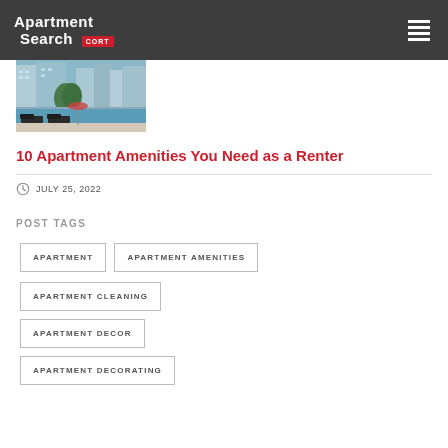Apartment Search CORT
[Figure (photo): Outdoor apartment pool area with lounge chairs and modern buildings in background]
10 Apartment Amenities You Need as a Renter
JULY 25, 2022
POST TAGS
APARTMENT
APARTMENT AMENITIES
APARTMENT CLEANING
APARTMENT DECOR
APARTMENT DECORATING